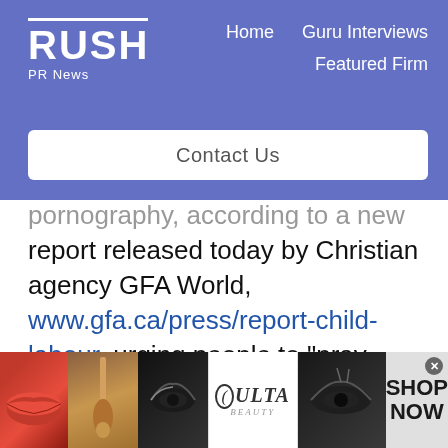RUSH PR News — Home | Guru Interviews | Featured Firm | Contact Us
pornography, according to a new report released today by Christian agency GFA World, www.gfa.ca/press/report-child-labour, urging people to "pray, engage and act."
[Figure (screenshot): Advertisement banner showing makeup/beauty images with ULTA logo and SHOP NOW call to action]